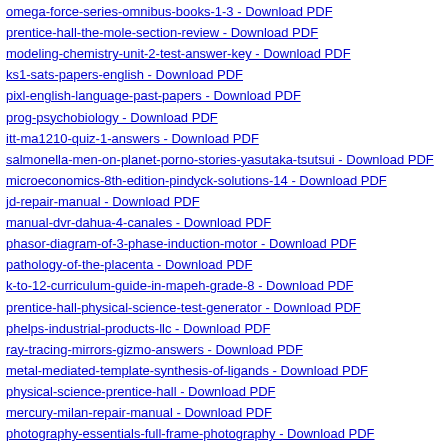omega-force-series-omnibus-books-1-3 - Download PDF
prentice-hall-the-mole-section-review - Download PDF
modeling-chemistry-unit-2-test-answer-key - Download PDF
ks1-sats-papers-english - Download PDF
pixl-english-language-past-papers - Download PDF
prog-psychobiology - Download PDF
itt-ma1210-quiz-1-answers - Download PDF
salmonella-men-on-planet-porno-stories-yasutaka-tsutsui - Download PDF
microeconomics-8th-edition-pindyck-solutions-14 - Download PDF
jd-repair-manual - Download PDF
manual-dvr-dahua-4-canales - Download PDF
phasor-diagram-of-3-phase-induction-motor - Download PDF
pathology-of-the-placenta - Download PDF
k-to-12-curriculum-guide-in-mapeh-grade-8 - Download PDF
prentice-hall-physical-science-test-generator - Download PDF
phelps-industrial-products-llc - Download PDF
ray-tracing-mirrors-gizmo-answers - Download PDF
metal-mediated-template-synthesis-of-ligands - Download PDF
physical-science-prentice-hall - Download PDF
mercury-milan-repair-manual - Download PDF
photography-essentials-full-frame-photography - Download PDF
kawasaki-zzr-600-manual - Download PDF
md7a-reduction-gear-manual - Download PDF